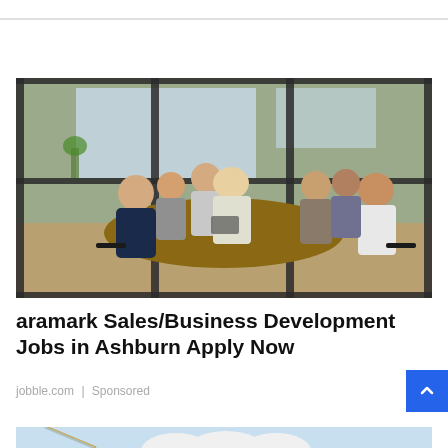[Figure (photo): Business meeting photo viewed through glass wall: group of professionals seated around a conference table in an industrial-style office, engaged in discussion. Shot through dark metal-framed glass panels.]
aramark Sales/Business Development Jobs in Ashburn Apply Now
jobble.com | Sponsored
[Figure (photo): Partial view of dental imagery — white ceramic teeth model with a dental tool, on a light blue background.]